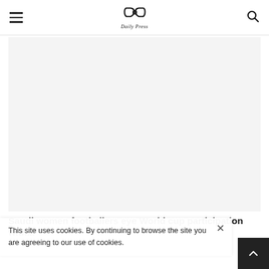Daily Press — navigation header with hamburger menu, logo, and search icon
[Figure (photo): Light grey placeholder image for article, no visible content]
Saudi women footballers eye World cup participation with...
This site uses cookies. By continuing to browse the site you are agreeing to our use of cookies.